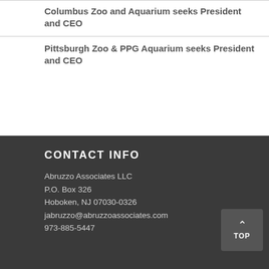Columbus Zoo and Aquarium seeks President and CEO
Pittsburgh Zoo & PPG Aquarium seeks President and CEO
CONTACT INFO
Abruzzo Associates LLC
P.O. Box 326
Hoboken, NJ 07030-0326
jabruzzo@abruzzoassociates.com
973-885-5447